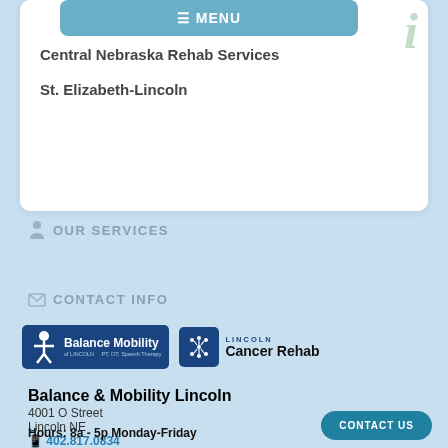Children...
MENU
Central Nebraska Rehab Services
St. Elizabeth-Lincoln
OUR SERVICES
CONTACT INFO
[Figure (logo): Balance Mobility of Lincoln - PT, OT, Speech Therapy logo with dark blue background and figure icon]
[Figure (logo): Lincoln Cancer Rehab logo with dark blue box and star/figure icon]
Balance & Mobility Lincoln
4001 O Street
Lincoln NE
402.817.0834
Hours: 8a - 5p Monday-Friday
CONTACT US